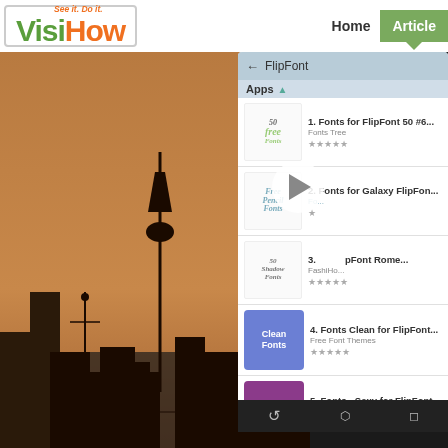[Figure (logo): VisiHow logo with 'See it. Do it.' tagline in orange italic, 'Visi' in green bold, 'How' in orange bold]
Home | Articles
[Figure (screenshot): Screenshot of FlipFont app store page showing multiple font apps: 1. Fonts for FlipFont 50 #6 (Fonts Tree, 5 stars), 2. Fonts for Galaxy FlipFont (rating visible), 3. FlipFont Reme... (FashiHo..., 5 stars), 4. Fonts Clean for FlipFont (Free Font Themes, 5 stars), 5. Fonts - Sexy for FlipFont (Free Font Themes, 5 stars). A video play button overlay is visible over item 2-3.]
[Figure (photo): Background photo showing city skyline silhouette with CN Tower and buildings at dusk, warm brownish-orange sky]